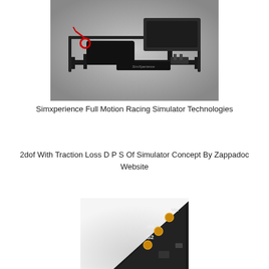[Figure (photo): Simxperience full motion racing simulator rig — a black metal frame with a seat mount and screen arm, with red steering wheel joystick visible, illuminated on a grey gradient background.]
Simxperience Full Motion Racing Simulator Technologies
2dof With Traction Loss D P S Of Simulator Concept By Zappadoc Website
[Figure (photo): A small black triangular/angular circuit board labeled 'Jrk G2' with gold/copper contact pads and text 'Vin' visible, showing a motor controller PCB.]